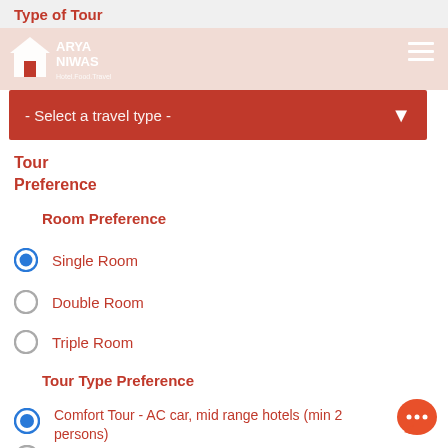Type of Tour
[Figure (logo): Arya Niwas Hotel Food Travel logo with white house icon on orange/red bar background]
- Select a travel type -
Tour Preference
Room Preference
Single Room (selected)
Double Room
Triple Room
Tour Type Preference
Comfort Tour - AC car, mid range hotels (min 2 persons) (selected)
Premium Tour - Luxury car, charming character